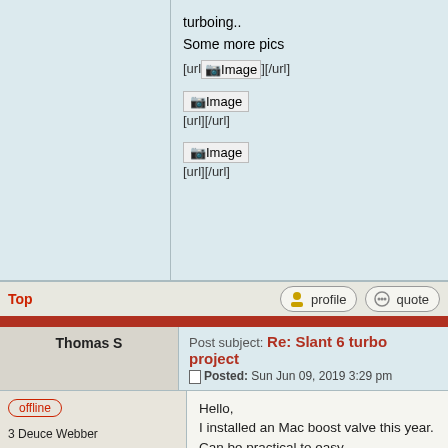turboing..
Some more pics
[url][Image][/url]
[Figure (other): Broken image placeholder labeled Image with [url][/url] tag]
[Figure (other): Broken image placeholder labeled Image with [url][/url] tag]
Top
profile
quote
Post subject: Re: Slant 6 turbo project
Posted: Sun Jun 09, 2019 3:29 pm
Thomas S
offline
3 Deuce Webber
Joined: Sun Feb 09, 2014 12:32 pm
Posts: 93
Location: Sweden
Car Model: Valiant -66 turbo
Hello,
I installed an Mac boost valve this year. Can be practical to easy regulate/change between low and higher boost.
I have not tried this yet, but it should